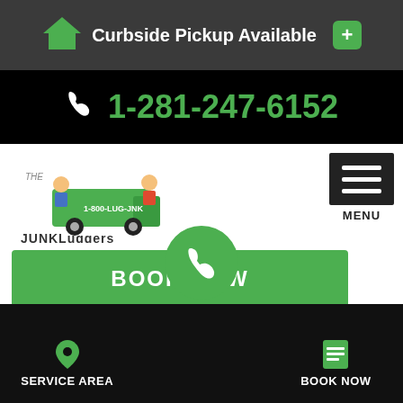Curbside Pickup Available
1-281-247-6152
[Figure (logo): The Junkluggers logo with cartoon characters and green truck]
[Figure (other): Menu button with three horizontal lines and MENU label]
BOOK NOW
Customer Reviews
SERVICE AREA  BOOK NOW